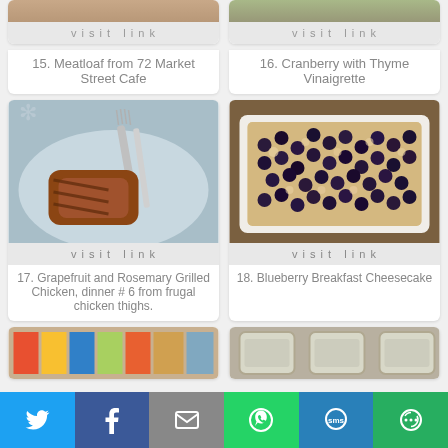[Figure (photo): Top of card 15 - Meatloaf from 72 Market Street Cafe (partially visible at top)]
visit link
15. Meatloaf from 72 Market Street Cafe
[Figure (photo): Top of card 16 - Cranberry with Thyme Vinaigrette (partially visible at top)]
visit link
16. Cranberry with Thyme Vinaigrette
[Figure (photo): Grilled chicken on a plate with fork and knife]
visit link
17. Grapefruit and Rosemary Grilled Chicken, dinner # 6 from frugal chicken thighs.
[Figure (photo): Blueberry breakfast cheesecake in a baking dish]
visit link
18. Blueberry Breakfast Cheesecake
[Figure (photo): Bottom of page - partially visible cards 19 and 20]
Share bar with Twitter, Facebook, Email, WhatsApp, SMS, More buttons